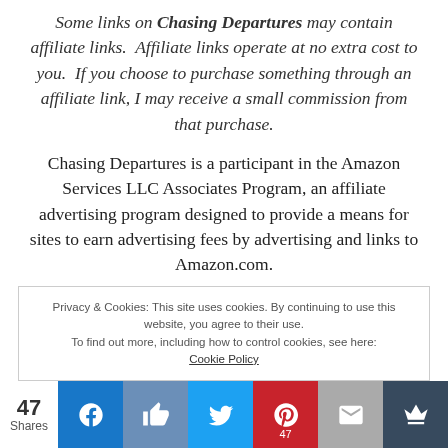Some links on Chasing Departures may contain affiliate links.  Affiliate links operate at no extra cost to you.  If you choose to purchase something through an affiliate link, I may receive a small commission from that purchase.
Chasing Departures is a participant in the Amazon Services LLC Associates Program, an affiliate advertising program designed to provide a means for sites to earn advertising fees by advertising and links to Amazon.com.
Privacy & Cookies: This site uses cookies. By continuing to use this website, you agree to their use. To find out more, including how to control cookies, see here: Cookie Policy